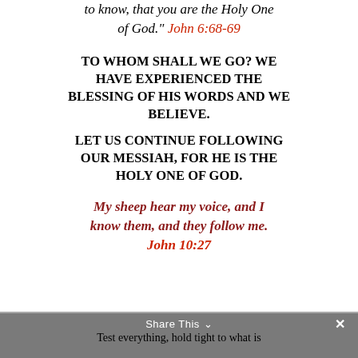to know, that you are the Holy One of God." John 6:68-69
TO WHOM SHALL WE GO? WE HAVE EXPERIENCED THE BLESSING OF HIS WORDS AND WE BELIEVE.
LET US CONTINUE FOLLOWING OUR MESSIAH, FOR HE IS THE HOLY ONE OF GOD.
My sheep hear my voice, and I know them, and they follow me. John 10:27
Share This  ×  Test everything, hold tight to what is
Test everything, hold tight to what is